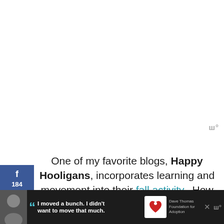One of my favorite blogs, Happy Hooligans, incorporates learning and movement into their fall activity.  How beautiful is this spiral of leaves?
[Figure (photo): Close-up photo of colorful autumn leaves arranged in a spiral pattern on a white plate with paintbrushes]
WHAT'S NEXT → Easy & Inexpensive...
[Figure (other): Advertisement banner: I moved a bunch. I didn't want to move that much. Dave Thomas Foundation for Adoption]